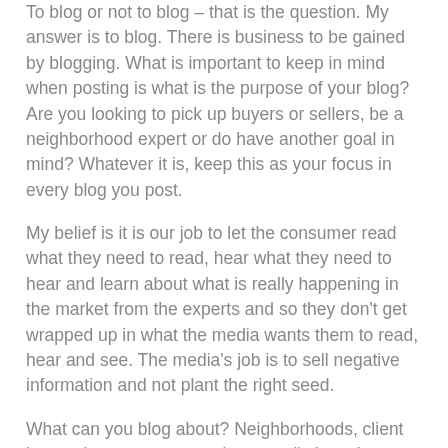To blog or not to blog – that is the question.  My answer is to blog. There is business to be gained by blogging. What is important to keep in mind when posting is what is the purpose of your blog?  Are you looking to pick up buyers or sellers, be a neighborhood expert or do have another goal in mind?   Whatever it is, keep this as your focus in every blog you post.
My belief is it is our job to let the consumer read what they need to read, hear what they need to hear and learn about what is really happening in the market from the experts and so they don't get wrapped up in what the media wants them to read, hear and see.   The media's job is to sell negative information and not plant the right seed.
What can you blog about?  Neighborhoods, client interactions, success stories, your listings, homes you have previewed – deal of the day or week, life